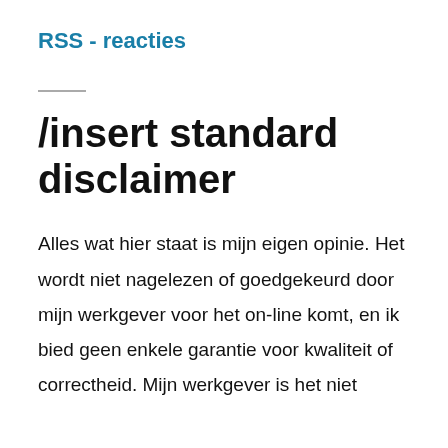RSS - reacties
/insert standard disclaimer
Alles wat hier staat is mijn eigen opinie. Het wordt niet nagelezen of goedgekeurd door mijn werkgever voor het on-line komt, en ik bied geen enkele garantie voor kwaliteit of correctheid. Mijn werkgever is het niet